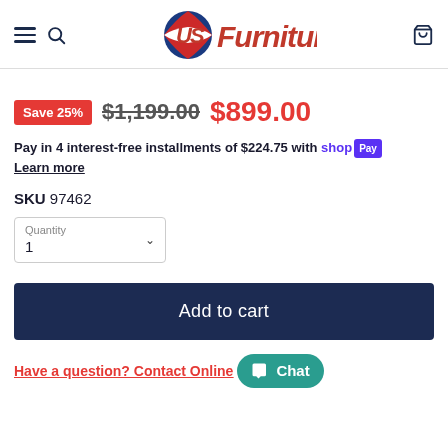US Furniture — navigation header with hamburger menu, search icon, logo, and cart icon
Save 25% $1,199.00 $899.00
Pay in 4 interest-free installments of $224.75 with shop Pay
Learn more
SKU 97462
Quantity 1
Add to cart
Have a question? Contact Online Chat